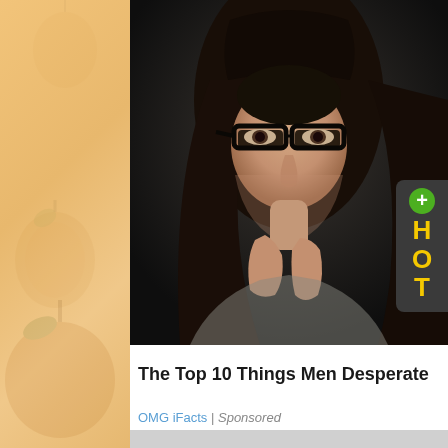[Figure (photo): Left panel with peach/tan background and subtle fruit watermark decoration]
[Figure (photo): Black and white style photo of a young woman with long dark wavy hair and black-rimmed glasses, resting her chin on her hands, looking at camera. A dark rounded badge with HOT text in yellow and a green plus circle overlaid on right side.]
The Top 10 Things Men Desperate
OMG iFacts | Sponsored